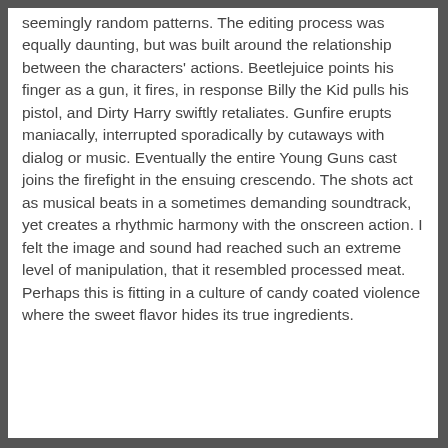seemingly random patterns. The editing process was equally daunting, but was built around the relationship between the characters' actions. Beetlejuice points his finger as a gun, it fires, in response Billy the Kid pulls his pistol, and Dirty Harry swiftly retaliates. Gunfire erupts maniacally, interrupted sporadically by cutaways with dialog or music. Eventually the entire Young Guns cast joins the firefight in the ensuing crescendo. The shots act as musical beats in a sometimes demanding soundtrack, yet creates a rhythmic harmony with the onscreen action. I felt the image and sound had reached such an extreme level of manipulation, that it resembled processed meat. Perhaps this is fitting in a culture of candy coated violence where the sweet flavor hides its true ingredients.